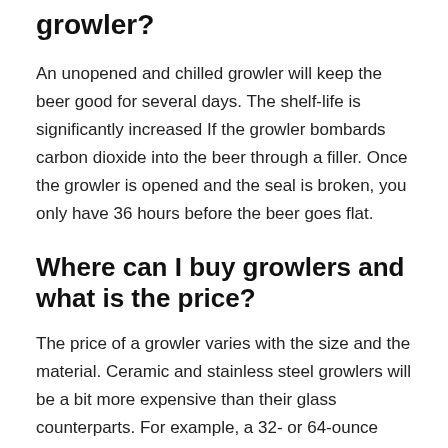growler?
An unopened and chilled growler will keep the beer good for several days. The shelf-life is significantly increased If the growler bombards carbon dioxide into the beer through a filler. Once the growler is opened and the seal is broken, you only have 36 hours before the beer goes flat.
Where can I buy growlers and what is the price?
The price of a growler varies with the size and the material. Ceramic and stainless steel growlers will be a bit more expensive than their glass counterparts. For example, a 32- or 64-ounce glass growler will be